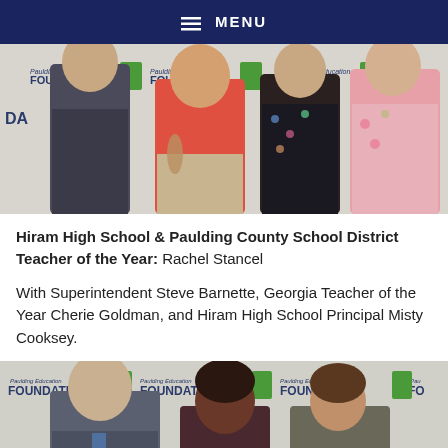☰ MENU
[Figure (photo): Group photo of four people standing in front of a Paulding Education Foundation banner backdrop. One person in dark suit on left, one in red top, one in floral dress, one in pink floral top on right.]
Hiram High School & Paulding County School District Teacher of the Year: Rachel Stancel
With Superintendent Steve Barnette, Georgia Teacher of the Year Cherie Goldman, and Hiram High School Principal Misty Cooksey.
[Figure (photo): Group photo of three people standing in front of a Paulding Education Foundation banner backdrop. A man in a suit on the left, a woman in the middle, and another woman on the right.]